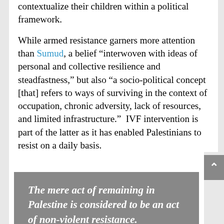contextualize their children within a political framework.
While armed resistance garners more attention than Sumud, a belief “interwoven with ideas of personal and collective resilience and steadfastness,” but also “a socio-political concept [that] refers to ways of surviving in the context of occupation, chronic adversity, lack of resources, and limited infrastructure.”  IVF intervention is part of the latter as it has enabled Palestinians to resist on a daily basis.
The mere act of remaining in Palestine is considered to be an act of non-violent resistance.